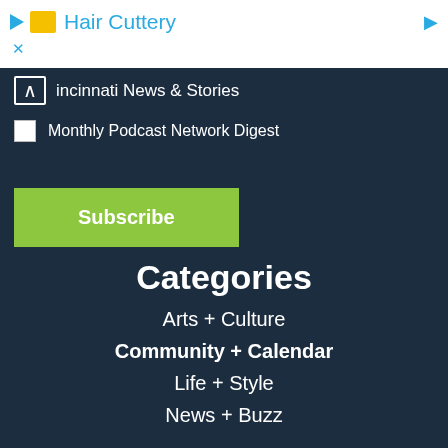[Figure (screenshot): Advertisement banner with yellow icon, play button, Hair Cuttery text in blue, and arrow]
incinnati News & Stories
Monthly Podcast Network Digest
Subscribe
Categories
Arts + Culture
Community + Calendar
Life + Style
News + Buzz
Obituaries + Remembrances
People + Places
Religion + Observance